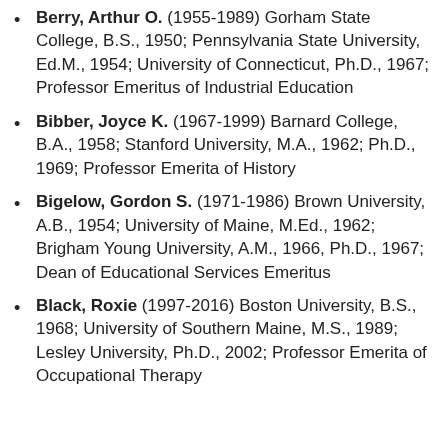Berry, Arthur O. (1955-1989) Gorham State College, B.S., 1950; Pennsylvania State University, Ed.M., 1954; University of Connecticut, Ph.D., 1967; Professor Emeritus of Industrial Education
Bibber, Joyce K. (1967-1999) Barnard College, B.A., 1958; Stanford University, M.A., 1962; Ph.D., 1969; Professor Emerita of History
Bigelow, Gordon S. (1971-1986) Brown University, A.B., 1954; University of Maine, M.Ed., 1962; Brigham Young University, A.M., 1966, Ph.D., 1967; Dean of Educational Services Emeritus
Black, Roxie (1997-2016) Boston University, B.S., 1968; University of Southern Maine, M.S., 1989; Lesley University, Ph.D., 2002; Professor Emerita of Occupational Therapy